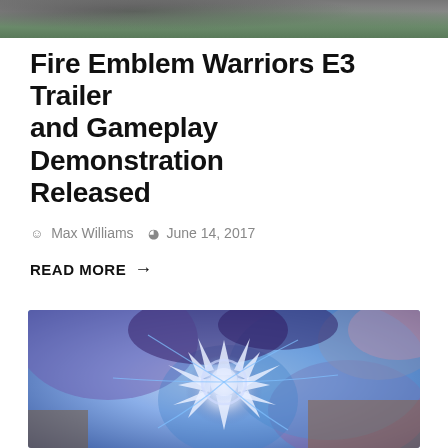[Figure (photo): Top cropped image showing partial view of a scene with green and gray tones]
Fire Emblem Warriors E3 Trailer and Gameplay Demonstration Released
Max Williams   June 14, 2017
READ MORE →
[Figure (illustration): Fantasy/anime style digital artwork featuring a white feathered or crystalline creature with blue and purple swirling energy effects, dramatic action scene]